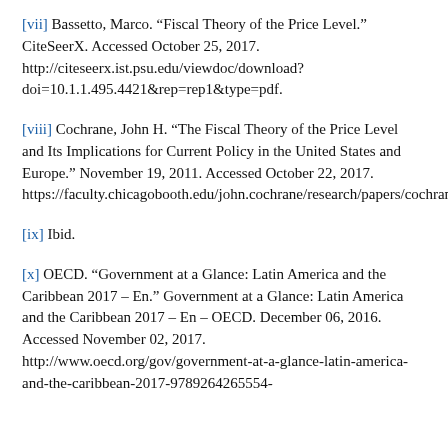[vii] Bassetto, Marco. “Fiscal Theory of the Price Level.” CiteSeerX. Accessed October 25, 2017. http://citeseerx.ist.psu.edu/viewdoc/download?doi=10.1.1.495.4421&rep=rep1&type=pdf.
[viii] Cochrane, John H. “The Fiscal Theory of the Price Level  and Its Implications for Current Policy in the United States and Europe.” November 19, 2011. Accessed October 22, 2017. https://faculty.chicagobooth.edu/john.cochrane/research/papers/cochrane_fiscal_theory_panel_bfi.pdf.
[ix] Ibid.
[x] OECD. “Government at a Glance: Latin America and the Caribbean 2017 – En.” Government at a Glance: Latin America and the Caribbean 2017 – En – OECD. December 06, 2016. Accessed November 02, 2017. http://www.oecd.org/gov/government-at-a-glance-latin-america-and-the-caribbean-2017-9789264265554-